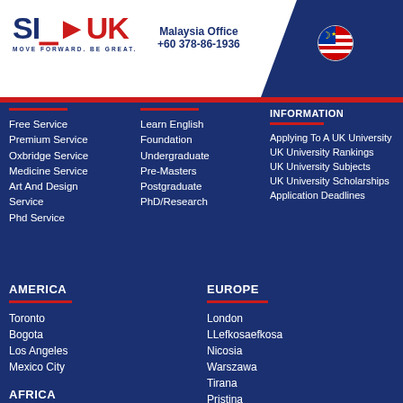[Figure (logo): SI-UK logo with arrow, tagline MOVE FORWARD. BE GREAT.]
Malaysia Office
+60 378-86-1936
[Figure (illustration): Malaysian flag circle icon]
[Figure (illustration): Hamburger menu icon]
Free Service
Premium Service
Oxbridge Service
Medicine Service
Art And Design Service
Phd Service
Learn English
Foundation
Undergraduate
Pre-Masters
Postgraduate
PhD/Research
INFORMATION
Applying To A UK University
UK University Rankings
UK University Subjects
UK University Scholarships
Application Deadlines
AMERICA
Toronto
Bogota
Los Angeles
Mexico City
AFRICA
Cairo
Lagos
EUROPE
London
LLefkosaefkosa
Nicosia
Warszawa
Tirana
Pristina
Kyiv
MIDDLE EAST &